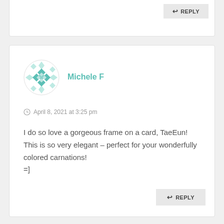[Figure (other): Partial comment card with a REPLY button visible at top]
[Figure (illustration): Avatar icon with teal/mint diamond pattern geometric design for user Michele F]
Michele F
April 8, 2021 at 3:25 pm
I do so love a gorgeous frame on a card, TaeEun! This is so very elegant – perfect for your wonderfully colored carnations!
=]
REPLY
REPLY